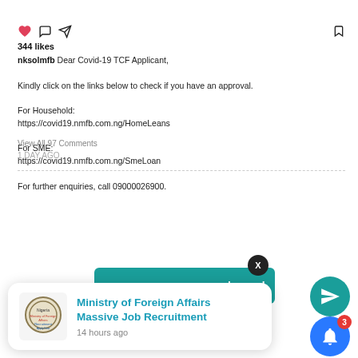344 likes
nksolmfb: Dear Covid-19 TCF Applicant,

Kindly click on the links below to check if you have an approval.

For Household:
https://covid19.nmfb.com.ng/HomeLeans

For SME:
https://covid19.nmfb.com.ng/SmeLoan

For further enquiries, call 09000026900.
View All 97 Comments
1 DAY AGO
Ministry of Foreign Affairs Massive Job Recruitment
14 hours ago